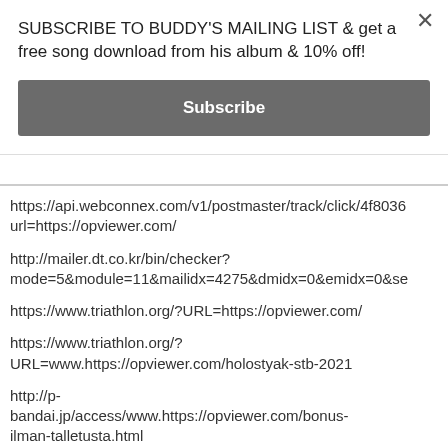SUBSCRIBE TO BUDDY'S MAILING LIST & get a free song download from his album & 10% off!
Subscribe
https://api.webconnex.com/v1/postmaster/track/click/4f8036 url=https://opviewer.com/
http://mailer.dt.co.kr/bin/checker? mode=5&module=11&mailidx=4275&dmidx=0&emidx=0&se
https://www.triathlon.org/?URL=https://opviewer.com/
https://www.triathlon.org/? URL=www.https://opviewer.com/holostyak-stb-2021
http://p-bandai.jp/access/www.https://opviewer.com/bonus-ilman-talletusta.html